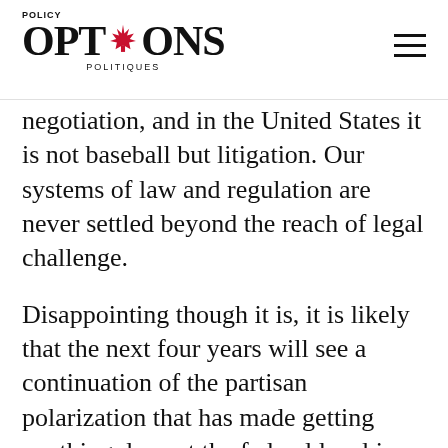POLICY OPTIONS POLITIQUES
negotiation, and in the United States it is not baseball but litigation. Our systems of law and regulation are never settled beyond the reach of legal challenge.
Disappointing though it is, it is likely that the next four years will see a continuation of the partisan polarization that has made getting anything done at the federal level in the United States difficult. A re-elected Donald Trump would face a Democratic Party that bet on another moderate centrist presidential candidate and lost, and the party's more radical factions will gain